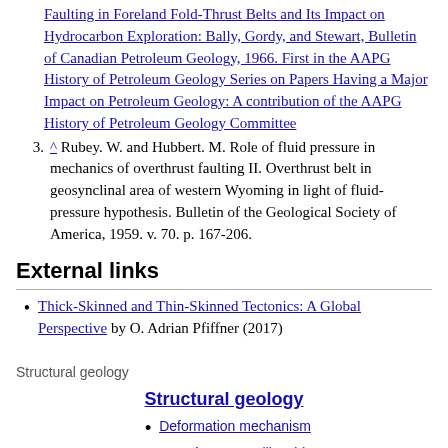Faulting in Foreland Fold-Thrust Belts and Its Impact on Hydrocarbon Exploration: Bally, Gordy, and Stewart, Bulletin of Canadian Petroleum Geology, 1966. First in the AAPG History of Petroleum Geology Series on Papers Having a Major Impact on Petroleum Geology: A contribution of the AAPG History of Petroleum Geology Committee
^ Rubey. W. and Hubbert. M. Role of fluid pressure in mechanics of overthrust faulting II. Overthrust belt in geosynclinal area of western Wyoming in light of fluid-pressure hypothesis. Bulletin of the Geological Society of America, 1959. v. 70. p. 167-206.
External links
Thick-Skinned and Thin-Skinned Tectonics: A Global Perspective by O. Adrian Pfiffner (2017)
Structural geology
Structural geology
Deformation mechanism
Lamé's stress ellipsoid